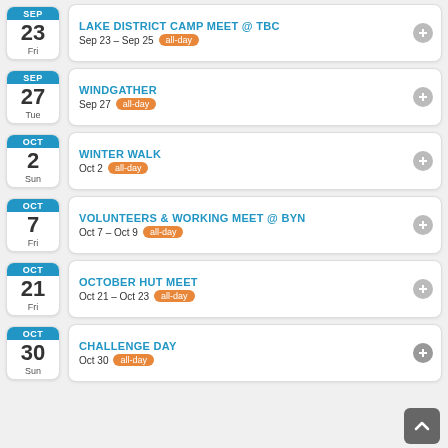LAKE DISTRICT CAMP MEET @ TBC — Sep 23 – Sep 25 all-day — 23 Fri
WINDGATHER — Sep 27 all-day — SEP 27 Tue
WINTER WALK — Oct 2 all-day — OCT 2 Sun
VOLUNTEERS & WORKING MEET @ BYN — Oct 7 – Oct 9 all-day — OCT 7 Fri
OCTOBER HUT MEET — Oct 21 – Oct 23 all-day — OCT 21 Fri
CHALLENGE DAY — Oct 30 all-day — OCT 30 Sun